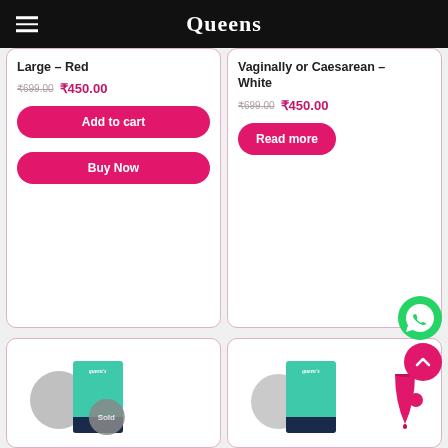Queens
Large – Red
₹699.00 ₹450.00
Add to cart
Buy Now
Vaginally or Caesarean – White
₹699.00 ₹450.00
Read more
[Figure (photo): Queen's product box with menstrual cup, circle overlay and Sold badge]
[Figure (photo): Queen's product box with menstrual cup, second product]